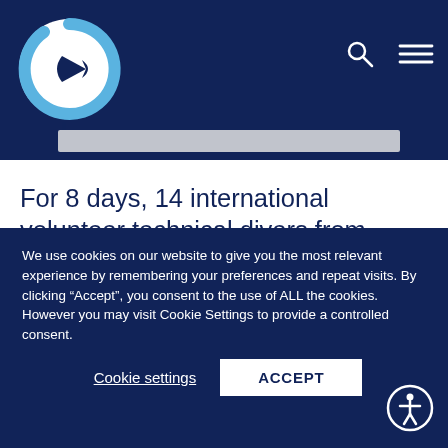[Figure (logo): Ghost Diving / ocean conservation circular logo with fish silhouette and blue ring on dark navy background]
For 8 days, 14 international volunteer technical divers from Ghost Diving worked to get rid of the rings, pipes and fishing nets while another team of surface volunteers tackled the
We use cookies on our website to give you the most relevant experience by remembering your preferences and repeat visits. By clicking “Accept”, you consent to the use of ALL the cookies. However you may visit Cookie Settings to provide a controlled consent.
Cookie settings
ACCEPT